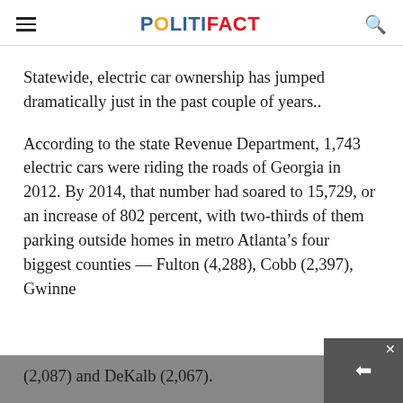POLITIFACT
Statewide, electric car ownership has jumped dramatically just in the past couple of years..
According to the state Revenue Department, 1,743 electric cars were riding the roads of Georgia in 2012. By 2014, that number had soared to 15,729, or an increase of 802 percent, with two-thirds of them parking outside homes in metro Atlanta’s four biggest counties –– Fulton (4,288), Cobb (2,397), Gwinnett (2,087) and DeKalb (2,067).